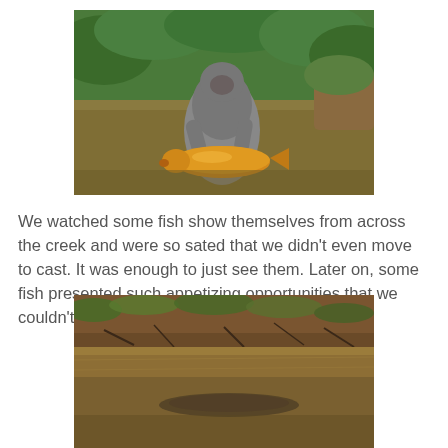[Figure (photo): A person in gray waders and hooded jacket kneeling in a murky creek holding a large golden/orange carp fish, with lush green tree foliage in the background.]
We watched some fish show themselves from across the creek and were so sated that we didn't even move to cast. It was enough to just see them. Later on, some fish presented such appetizing opportunities that we couldn't resist.
[Figure (photo): A close-up view of a murky brown creek with a muddy bank covered in roots and vegetation at the top, and what appears to be a fish shape visible beneath the water surface.]